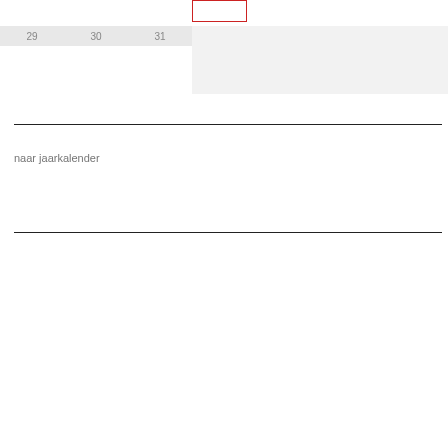[Figure (other): Calendar grid fragment showing day numbers 29, 30, 31 with a red outlined box in the top right area and a light gray shaded region]
naar jaarkalender